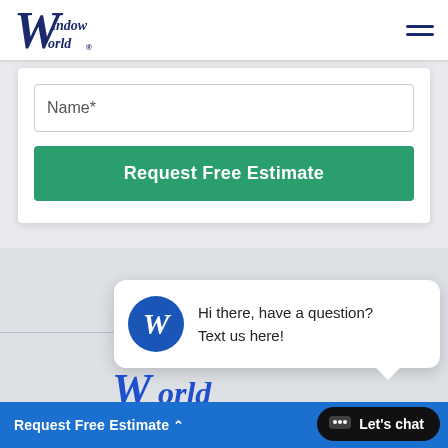[Figure (logo): Window World logo in navy blue italic script]
Name*
Request Free Estimate
[Figure (screenshot): Chat popup bubble with Window World circular logo icon and text: Hi there, have a question? Text us here!]
[Figure (logo): Window World word mark in blue italic - World portion visible]
Request Free Estimate ^
Let's chat